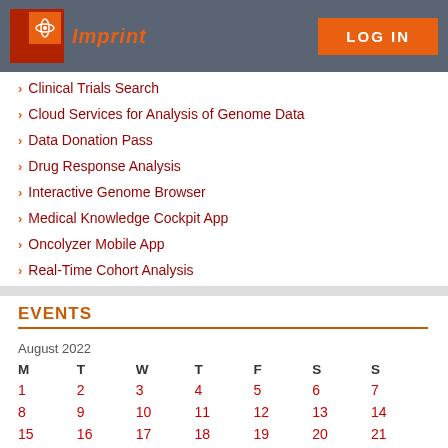Imprint | LOG IN
Clinical Trials Search
Cloud Services for Analysis of Genome Data
Data Donation Pass
Drug Response Analysis
Interactive Genome Browser
Medical Knowledge Cockpit App
Oncolyzer Mobile App
Real-Time Cohort Analysis
EVENTS
| M | T | W | T | F | S | S |
| --- | --- | --- | --- | --- | --- | --- |
| 1 | 2 | 3 | 4 | 5 | 6 | 7 |
| 8 | 9 | 10 | 11 | 12 | 13 | 14 |
| 15 | 16 | 17 | 18 | 19 | 20 | 21 |
| 22 | 23 | 24 | 25 | 26 | 27 | 28 |